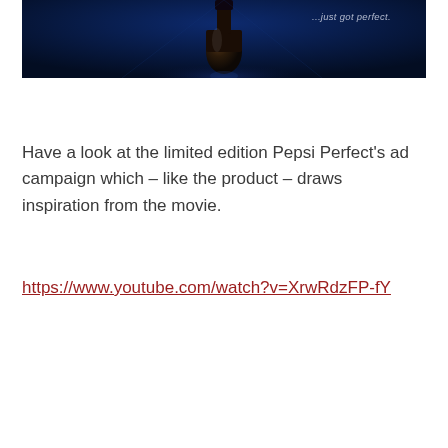[Figure (photo): Dark blue advertisement image showing a Pepsi Perfect bottle with the tagline '...just got perfect.' in the upper right corner, set against a deep navy blue background with glossy reflections.]
Have a look at the limited edition Pepsi Perfect's ad campaign which – like the product – draws inspiration from the movie.
https://www.youtube.com/watch?v=XrwRdzFP-fY